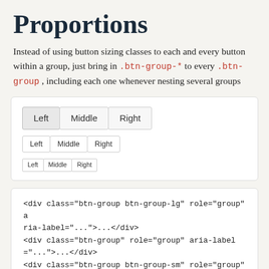Proportions
Instead of using button sizing classes to each and every button within a group, just bring in .btn-group-* to every .btn-group , including each one whenever nesting several groups
[Figure (screenshot): Demo showing three rows of button groups at large, default, and small sizes. Each row has three buttons labeled Left, Middle, Right.]
<div class="btn-group btn-group-lg" role="group" aria-label="...">...</div>
<div class="btn-group" role="group" aria-label="...">...</div>
<div class="btn-group btn-group-sm" role="group" aria-label="...">...</div>